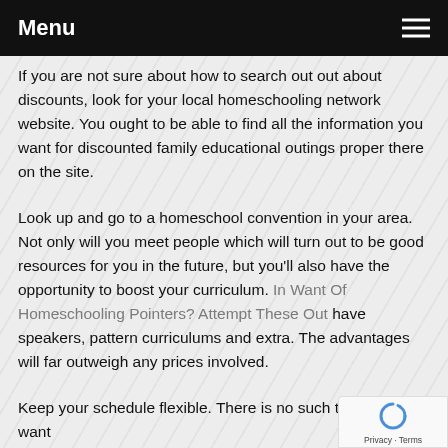Menu
If you are not sure about how to search out out about discounts, look for your local homeschooling network website. You ought to be able to find all the information you want for discounted family educational outings proper there on the site.
Look up and go to a homeschool convention in your area. Not only will you meet people which will turn out to be good resources for you in the future, but you'll also have the opportunity to boost your curriculum. In Want Of Homeschooling Pointers? Attempt These Out have speakers, pattern curriculums and extra. The advantages will far outweigh any prices involved.
Keep your schedule flexible. There is no such thing as a want